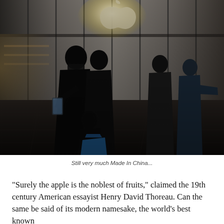[Figure (photo): People wearing masks walking past an Apple Store with glass facade at night. A large Apple logo is visible illuminated at the top of the building. The scene is dimly lit with silhouetted figures; one person carries a blue shopping bag.]
Still very much Made In China...
"Surely the apple is the noblest of fruits," claimed the 19th century American essayist Henry David Thoreau. Can the same be said of its modern namesake, the world's best known